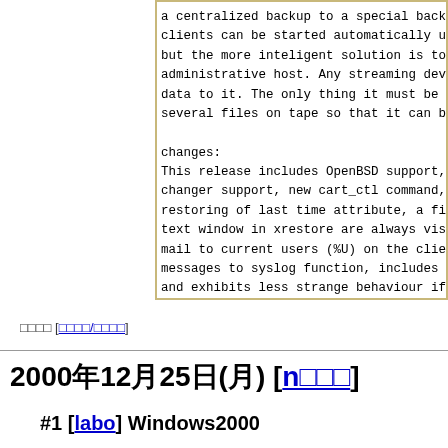a centralized backup to a special backup ser... clients can be started automatically using cro... but the more inteligent solution is to start i... administrative host. Any streaming device can... data to it. The only thing it must be able to... several files on tape so that it can be positi...

changes:
This release includes OpenBSD support, a tape changer support, new cart_ctl command, support restoring of last time attribute, a fix so con... text window in xrestore are always visible. Th... mail to current users (%U) on the clientside (... messages to syslog function, includes path rep... and exhibits less strange behaviour if no logg... Various fixes are also included regarding topl... name consisting of only one character, a segfa... filesystem entry with ACLs and several hardlin... libdes is now avoided when not explicitly call... algorithm to select the tape files for emergen...
□□□□ [□□□□/□□□□]
2000年12月25日(月) [n□□□]
#1 [labo] Windows2000